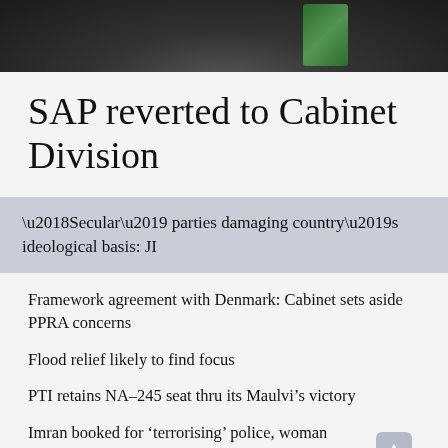[Figure (photo): Partial photo of a person in a dark suit with a green tie or background accent, cropped at the top of the page]
SAP reverted to Cabinet Division
‘Secular’ parties damaging country’s ideological basis: JI
Framework agreement with Denmark: Cabinet sets aside PPRA concerns
Flood relief likely to find focus
PTI retains NA–245 seat thru its Maulvi’s victory
Imran booked for ‘terrorising’ police, woman judge